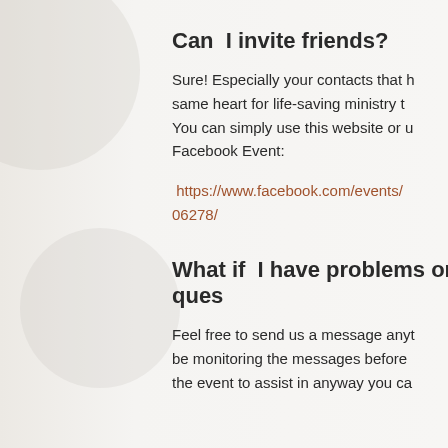Can I invite friends?
Sure! Especially your contacts that have the same heart for life-saving ministry t... You can simply use this website or use the Facebook Event:
https://www.facebook.com/events/...06278/
What if I have problems or ques...
Feel free to send us a message anyt... be monitoring the messages before the event to assist in anyway you ca...